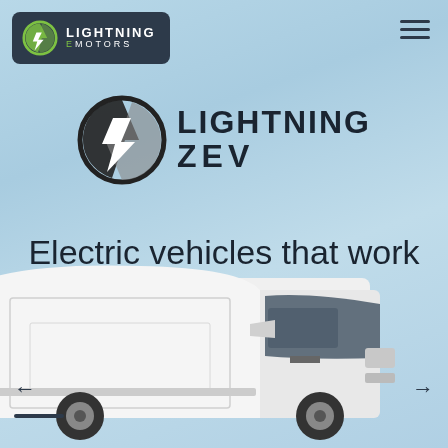[Figure (logo): Lightning eMotors logo in dark teal rounded rectangle header, with circular lightning bolt icon and text 'LIGHTNING eMOTORS']
[Figure (logo): Lightning ZEV large logo with circular lightning bolt icon and text 'LIGHTNING ZEV' in two lines]
Electric vehicles that work today.
[Figure (photo): White cargo delivery van/electric vehicle shown from front-right angle, bottom half of page, on light blue background]